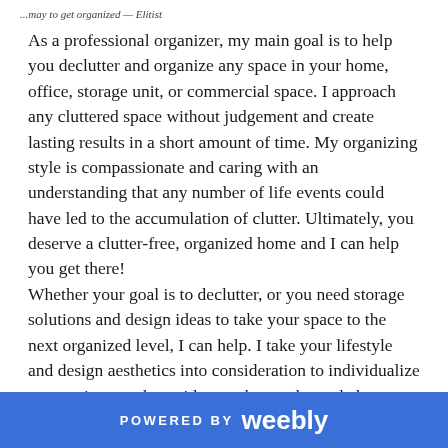...may to get organized — Elitist
As a professional organizer, my main goal is to help you declutter and organize any space in your home, office, storage unit, or commercial space. I approach any cluttered space without judgement and create lasting results in a short amount of time. My organizing style is compassionate and caring with an understanding that any number of life events could have led to the accumulation of clutter. Ultimately, you deserve a clutter-free, organized home and I can help you get there!
Whether your goal is to declutter, or you need storage solutions and design ideas to take your space to the next organized level, I can help. I take your lifestyle and design aesthetics into consideration to individualize our sessions, and provide you the much-needed functional space you need to eliminate stress and create order.
POWERED BY weebly